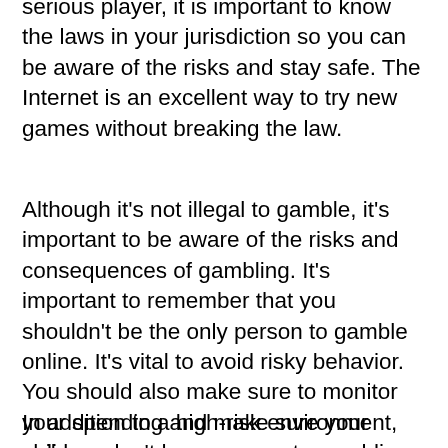serious player, it is important to know the laws in your jurisdiction so you can be aware of the risks and stay safe. The Internet is an excellent way to try new games without breaking the law.
Although it's not illegal to gamble, it's important to be aware of the risks and consequences of gambling. It's important to remember that you shouldn't be the only person to gamble online. It's vital to avoid risky behavior. You should also make sure to monitor your spending and make sure your children don't have access to gambling sites that are aimed at minors. It's easy to get hooked on something and never stop.
In addition to a high-risk environment, online gambling has the potential to be harmful. For this